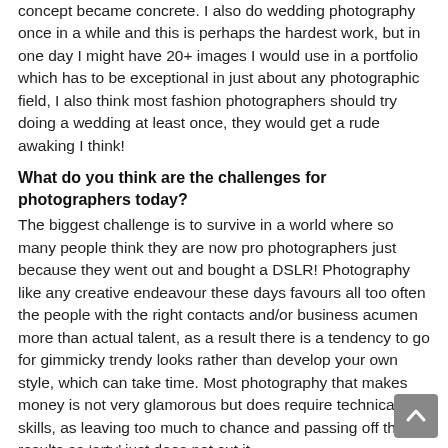concept became concrete. I also do wedding photography once in a while and this is perhaps the hardest work, but in one day I might have 20+ images I would use in a portfolio which has to be exceptional in just about any photographic field, I also think most fashion photographers should try doing a wedding at least once, they would get a rude awaking I think!
What do you think are the challenges for photographers today?
The biggest challenge is to survive in a world where so many people think they are now pro photographers just because they went out and bought a DSLR! Photography like any creative endeavour these days favours all too often the people with the right contacts and/or business acumen more than actual talent, as a result there is a tendency to go for gimmicky trendy looks rather than develop your own style, which can take time. Most photography that makes money is not very glamorous but does require technical skills, as leaving too much to chance and passing off the results as 'arty' just does not cut it.